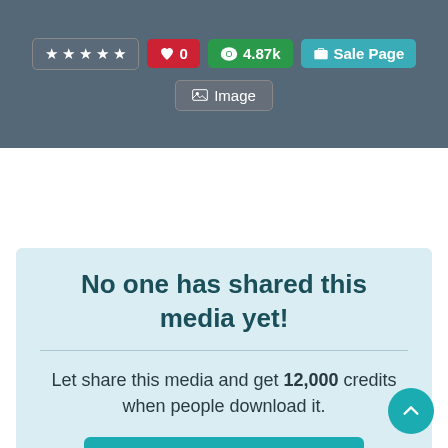[Figure (screenshot): Header bar with star rating (5 stars), heart/likes badge showing 0, views badge showing 4.87k, Sale Page button, and Image button]
No one has shared this media yet!
Let share this media and get 12,000 credits when people download it.
SHARE THIS MEDIA